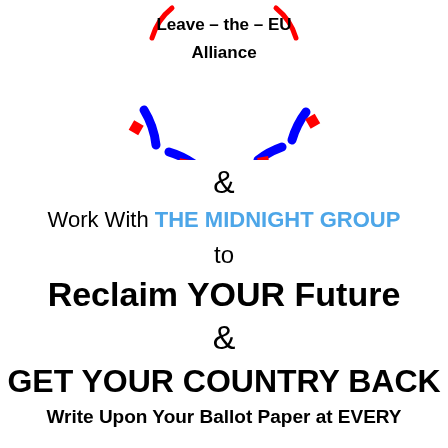[Figure (logo): Leave-the-EU Alliance logo: partial circle arc made of alternating red and blue dashed segments, with black text 'Leave – the – EU Alliance' inside the top of the arc]
&
Work With THE MIDNIGHT GROUP
to
Reclaim YOUR Future
&
GET YOUR COUNTRY BACK
Write Upon Your Ballot Paper at EVERY